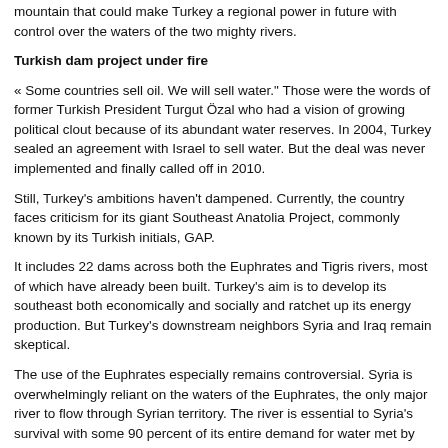mountain that could make Turkey a regional power in future with control over the waters of the two mighty rivers.
Turkish dam project under fire
« Some countries sell oil. We will sell water." Those were the words of former Turkish President Turgut Özal who had a vision of growing political clout because of its abundant water reserves. In 2004, Turkey sealed an agreement with Israel to sell water. But the deal was never implemented and finally called off in 2010.
Still, Turkey's ambitions haven't dampened. Currently, the country faces criticism for its giant Southeast Anatolia Project, commonly known by its Turkish initials, GAP.
It includes 22 dams across both the Euphrates and Tigris rivers, most of which have already been built. Turkey's aim is to develop its southeast both economically and socially and ratchet up its energy production. But Turkey's downstream neighbors Syria and Iraq remain skeptical.
The use of the Euphrates especially remains controversial. Syria is overwhelmingly reliant on the waters of the Euphrates, the only major river to flow through Syrian territory. The river is essential to Syria's survival with some 90 percent of its entire demand for water met by the Euphrates.
In 1987, Turkey and Syria came to an agreement over water sharing. It ensured Turkey would maintain a flow rate of 500 cubic meters of water per second where the Euphrates flows into Syria.